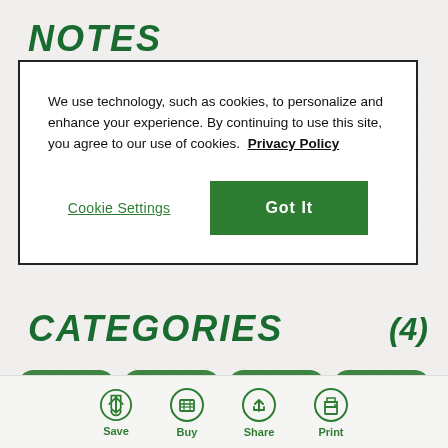NOTES
We use technology, such as cookies, to personalize and enhance your experience. By continuing to use this site, you agree to our use of cookies. Privacy Policy
Cookie Settings | Got It
CATEGORIES (4)
Category pills row (4 pills)
Save | Buy | Share | Print